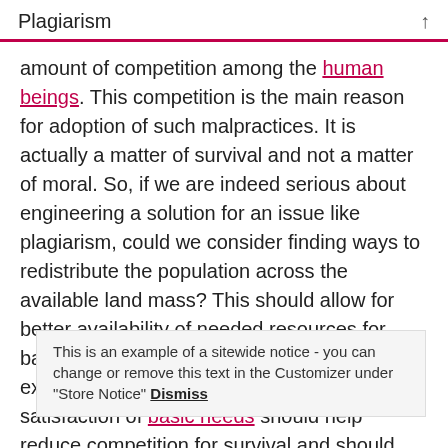Plagiarism
amount of competition among the human beings. This competition is the main reason for adoption of such malpractices. It is actually a matter of survival and not a matter of moral. So, if we are indeed serious about engineering a solution for an issue like plagiarism, could we consider finding ways to redistribute the population across the available land mass? This should allow for better availability of needed resources for basic well-being for making a decent existence on this Earth for everyone. The satisfaction of basic needs should help reduce competition for survival and should help in improving morals among the human race.
This is an example of a sitewide notice - you can change or remove this text in the Customizer under "Store Notice" Dismiss